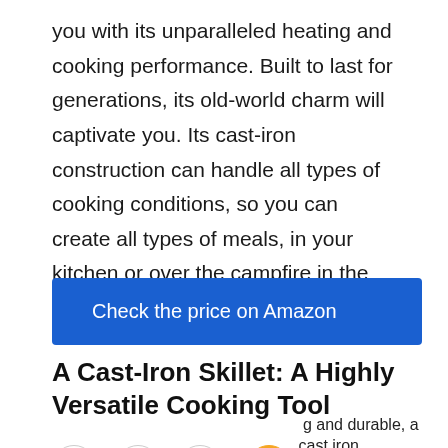you with its unparalleled heating and cooking performance. Built to last for generations, its old-world charm will captivate you. Its cast-iron construction can handle all types of cooking conditions, so you can create all types of meals, in your kitchen or over the campfire in the wilderness.
Check the price on Amazon
A Cast-Iron Skillet: A Highly Versatile Cooking Tool
A ti ss g and durable, a cast iron skillet can handle high temperatures. Its